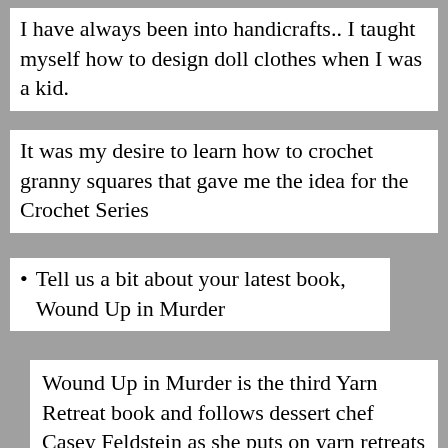I have always been into handicrafts..  I taught myself how to design doll clothes when I was a kid.
It was my desire to learn how to crochet granny squares that gave me the idea for the Crochet Series
Tell us a bit about your latest book, Wound Up in Murder
Wound Up in Murder is the third Yarn Retreat book and follows dessert chef Casey Feldstein as she puts on yarn retreats at a slightly sinister hotel and conference center on the tip of California's Monterey peninsula.  This time another retreat is going on at the same time where all the participants are pretending it is 1963.  When one of them turns up dead, Casey investigates and at the same time gets caught up in their retreat.  At